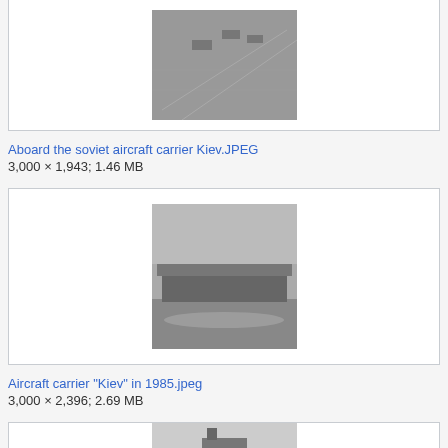[Figure (photo): Black and white aerial photo of the deck of the Soviet aircraft carrier Kiev, showing aircraft on the flight deck]
Aboard the soviet aircraft carrier Kiev.JPEG
3,000 × 1,943; 1.46 MB
[Figure (photo): Black and white photo of the Soviet aircraft carrier Kiev underway at sea, side view]
Aircraft carrier "Kiev" in 1985.jpeg
3,000 × 2,396; 2.69 MB
[Figure (photo): Black and white photo partially visible at bottom, appears to show a ship at sea]